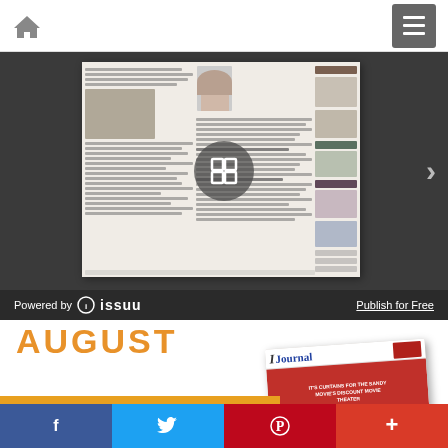Navigation bar with home icon and hamburger menu
[Figure (screenshot): Issuu document viewer showing a newsletter/journal page with multiple columns of text, an embedded photo, and a right sidebar with additional content blocks. An expand/fullscreen overlay icon is centered on the viewer.]
Powered by issuu
Publish for Free
AUGUST
[Figure (photo): Journal magazine cover thumbnail showing 'I Journal' masthead, red background with headline 'IT'S CURTAINS FOR THE SANDY MOVIE DISCOUNT MOVIE THEATER']
Read It
Social sharing bar with Facebook, Twitter, Pinterest, and More buttons